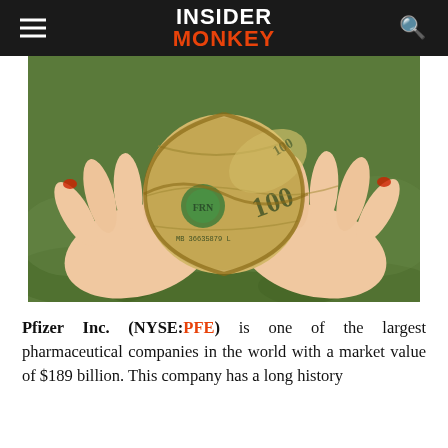INSIDER MONKEY
[Figure (photo): Two hands cupping a ball made of crumpled US dollar bills, held over a green grass/clover background.]
Pfizer Inc. (NYSE:PFE) is one of the largest pharmaceutical companies in the world with a market value of $189 billion. This company has a long history...